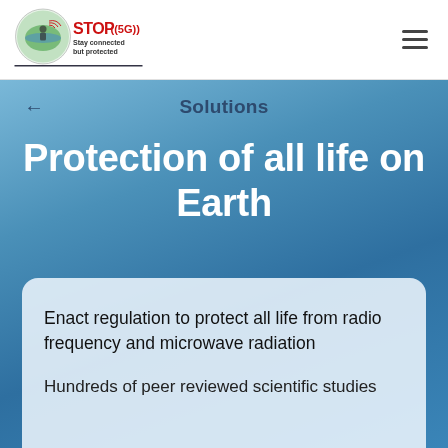[Figure (logo): STOP 5G logo with circular icon showing person with antenna and globe, red STOP((5G)) text, tagline 'Stay connected but protected']
Solutions
Protection of all life on Earth
Enact regulation to protect all life from radio frequency and microwave radiation
Hundreds of peer reviewed scientific studies